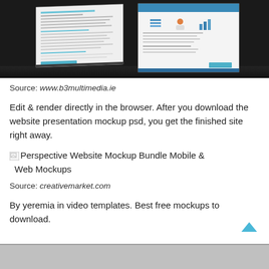[Figure (screenshot): Website mockup screenshot showing two angled document/webpage displays on a dark background]
Source: www.b3multimedia.ie
Edit & render directly in the browser. After you download the website presentation mockup psd, you get the finished site right away.
[Figure (illustration): Broken image placeholder for Perspective Website Mockup Bundle Mobile & Web Mockups]
Source: creativemarket.com
By yeremia in video templates. Best free mockups to download.
[Figure (screenshot): Bottom image strip, partially visible gray background]